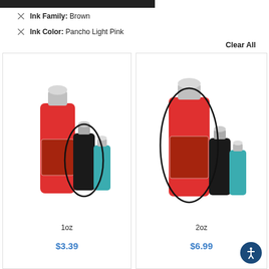Ink Family: Brown
Ink Color: Pancho Light Pink
Clear All
[Figure (photo): Three tattoo ink bottles grouped together with an oval circle highlighting one bottle, labeled 1oz]
1oz
$3.39
[Figure (photo): Three tattoo ink bottles grouped together with an oval circle highlighting one bottle, labeled 2oz]
2oz
$6.99